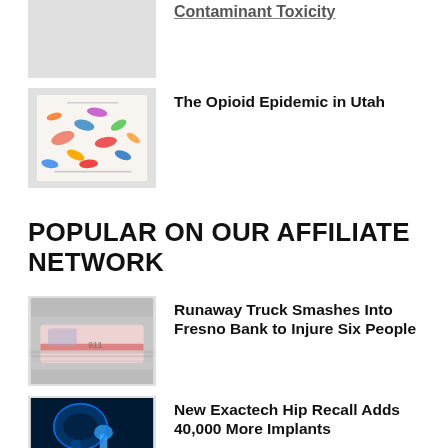[Figure (photo): Partial image visible at top, grey/light colored thumbnail (cropped, mostly cut off)]
Contaminant Toxicity
[Figure (photo): Various colorful pills and capsules scattered on a surface]
The Opioid Epidemic in Utah
POPULAR ON OUR AFFILIATE NETWORK
[Figure (photo): Blurred ambulance/emergency vehicle in motion]
Runaway Truck Smashes Into Fresno Bank to Injure Six People
[Figure (photo): X-ray or medical illustration of hip joint with implant, blue tones]
New Exactech Hip Recall Adds 40,000 More Implants
[Figure (photo): Partial dark image at bottom, partially cut off]
Camp Lejeune Justice Act Signed Into